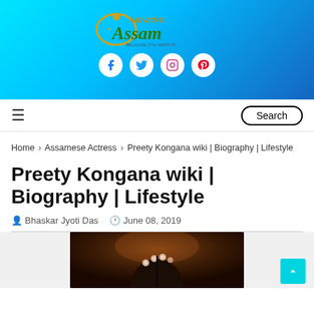[Figure (logo): Amazing Assam website logo with decorative green and orange text on cyan-to-blue gradient background, with social media icons (Facebook, Twitter, Instagram, Pinterest)]
Navigation bar with hamburger menu and Search button
Home › Assamese Actress › Preety Kongana wiki | Biography | Lifestyle
Preety Kongana wiki | Biography | Lifestyle
Bhaskar Jyoti Das   June 08, 2019
[Figure (photo): Photo of Preety Kongana, partially visible, wearing floral hair accessories on dark background]